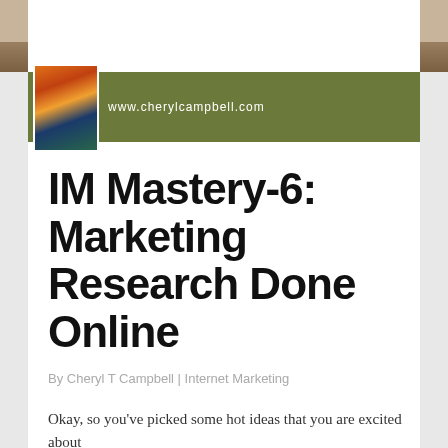[Figure (screenshot): Website header with navigation tabs on a tan/stone background, showing www.cherylcampbell.com banner with logo image]
IM Mastery-6: Marketing Research Done Online
By Cheryl T Campbell | Internet Marketing
Okay, so you've picked some hot ideas that you are excited about